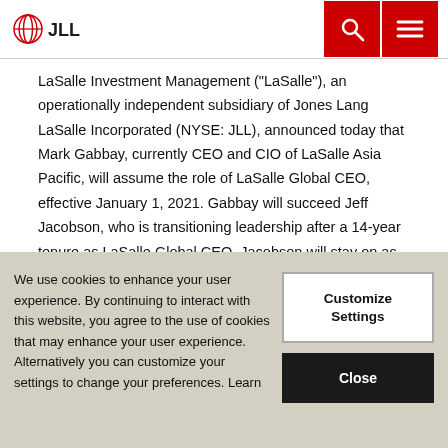JLL
LaSalle Investment Management ("LaSalle"), an operationally independent subsidiary of Jones Lang LaSalle Incorporated (NYSE: JLL), announced today that Mark Gabbay, currently CEO and CIO of LaSalle Asia Pacific, will assume the role of LaSalle Global CEO, effective January 1, 2021. Gabbay will succeed Jeff Jacobson, who is transitioning leadership after a 14-year tenure as LaSalle Global CEO. Jacobson will stay on as LaSalle Chairman through at least June 2021 and will
We use cookies to enhance your user experience. By continuing to interact with this website, you agree to the use of cookies that may enhance your user experience. Alternatively you can customize your settings to change your preferences. Learn
Customize Settings
Close